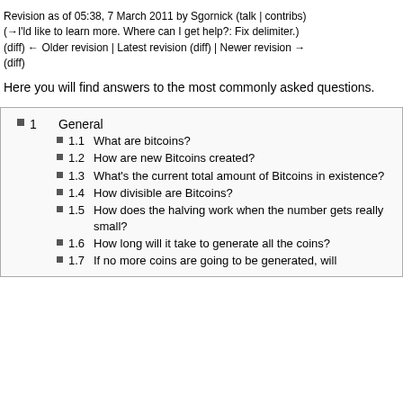Revision as of 05:38, 7 March 2011 by Sgornick (talk | contribs) (→I'ld like to learn more. Where can I get help?: Fix delimiter.) (diff) ← Older revision | Latest revision (diff) | Newer revision → (diff)
Here you will find answers to the most commonly asked questions.
1  General
1.1  What are bitcoins?
1.2  How are new Bitcoins created?
1.3  What's the current total amount of Bitcoins in existence?
1.4  How divisible are Bitcoins?
1.5  How does the halving work when the number gets really small?
1.6  How long will it take to generate all the coins?
1.7  If no more coins are going to be generated, will